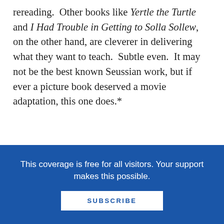rereading.  Other books like Yertle the Turtle and I Had Trouble in Getting to Solla Sollew, on the other hand, are cleverer in delivering what they want to teach.  Subtle even.  It may not be the best known Seussian work, but if ever a picture book deserved a movie adaptation, this one does.*
↓  SCROLL TO KEEP READING THIS POST  ↓
[Figure (illustration): Advertisement banner showing colorful human figures in a circle (teamwork logo) on white background with orange curved shape and HR&SLI Professional text]
This coverage is free for all visitors. Your support makes this possible.
SUBSCRIBE